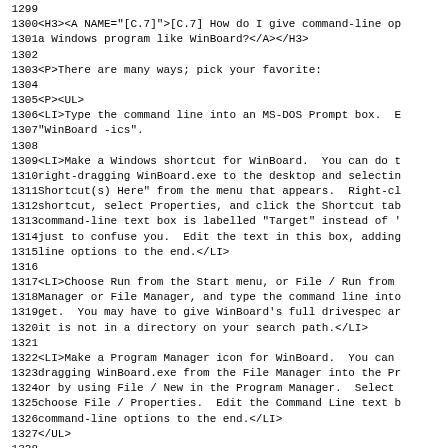Source code listing lines 1299-1331, showing HTML FAQ content about giving command-line options to Windows programs like WinBoard.